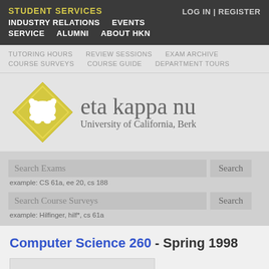STUDENT SERVICES | INDUSTRY RELATIONS | EVENTS | SERVICE | ALUMNI | ABOUT HKN | LOG IN | REGISTER
TUTORING HOURS | REVIEW SESSIONS | EXAM ARCHIVE | COURSE SURVEYS | COURSE GUIDE | DEPARTMENT TOURS
[Figure (logo): Eta Kappa Nu HKN logo — yellow diamond shape with a polar bear silhouette, text 'eta kappa nu' and 'University of California, Berk']
Search Exams — example: CS 61a, ee 20, cs 188
Search Course Surveys — example: Hilfinger, hilf*, cs 61a
Computer Science 260 - Spring 1998
| Instructor |
| --- |
|  |